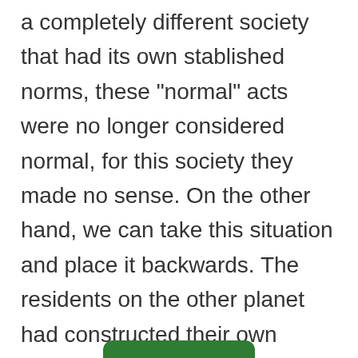a completely different society that had its own stablished norms, these “normal” acts were no longer considered normal, for this society they made no sense. On the other hand, we can take this situation and place it backwards. The residents on the other planet had constructed their own norms which for the any person who had lived at any other planet would have appeared out of the ordinary. T…social construction